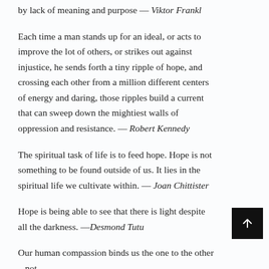Life is never made unbearable by circumstances, but only by lack of meaning and purpose — Viktor Frankl
Each time a man stands up for an ideal, or acts to improve the lot of others, or strikes out against injustice, he sends forth a tiny ripple of hope, and crossing each other from a million different centers of energy and daring, those ripples build a current that can sweep down the mightiest walls of oppression and resistance. — Robert Kennedy
The spiritual task of life is to feed hope. Hope is not something to be found outside of us. It lies in the spiritual life we cultivate within. — Joan Chittister
Hope is being able to see that there is light despite all the darkness. —Desmond Tutu
Our human compassion binds us the one to the other – not